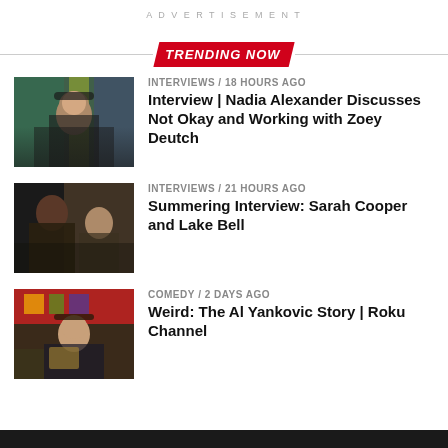ADVERTISEMENT
TRENDING NOW
[Figure (photo): Photo thumbnail of woman with glasses in a classroom or school setting]
INTERVIEWS / 18 hours ago
Interview | Nadia Alexander Discusses Not Okay and Working with Zoey Deutch
[Figure (photo): Photo thumbnail of woman with curly hair and another person in background]
INTERVIEWS / 21 hours ago
Summering Interview: Sarah Cooper and Lake Bell
[Figure (photo): Photo thumbnail of person with accordion in colorful setting]
COMEDY / 2 days ago
Weird: The Al Yankovic Story | Roku Channel